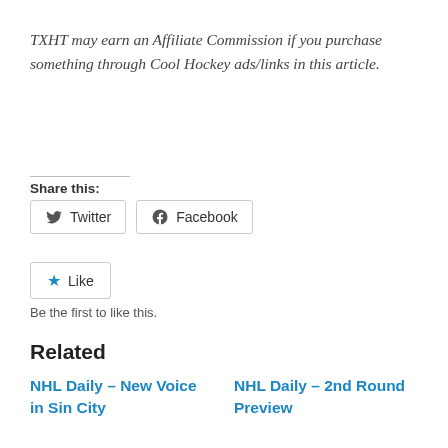TXHT may earn an Affiliate Commission if you purchase something through Cool Hockey ads/links in this article.
Share this:
[Figure (other): Twitter and Facebook share buttons]
[Figure (other): Like button with star icon]
Be the first to like this.
Related
NHL Daily – New Voice in Sin City
NHL Daily – 2nd Round Preview